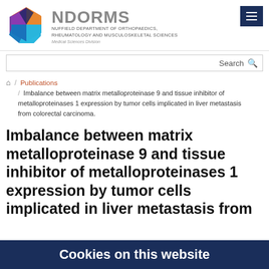[Figure (logo): NDORMS logo with colorful hexagon and text: NUFFIELD DEPARTMENT OF ORTHOPAEDICS, RHEUMATOLOGY AND MUSCULOSKELETAL SCIENCES, Medical Sciences Division]
Search
🏠 / Publications / Imbalance between matrix metalloproteinase 9 and tissue inhibitor of metalloproteinases 1 expression by tumor cells implicated in liver metastasis from colorectal carcinoma.
Imbalance between matrix metalloproteinase 9 and tissue inhibitor of metalloproteinases 1 expression by tumor cells implicated in liver metastasis from colorectal carcinoma.
Cookies on this website